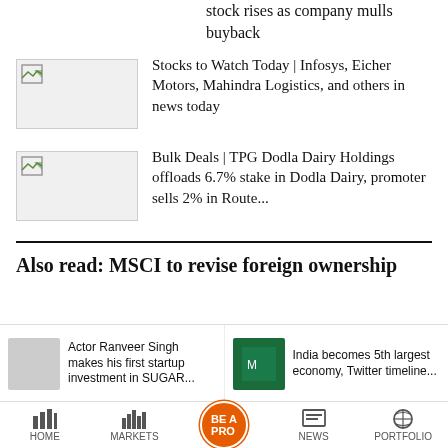stock rises as company mulls buyback
[Figure (photo): Thumbnail image placeholder for news article]
Stocks to Watch Today | Infosys, Eicher Motors, Mahindra Logistics, and others in news today
[Figure (photo): Thumbnail image placeholder for news article]
Bulk Deals | TPG Dodla Dairy Holdings offloads 6.7% stake in Dodla Dairy, promoter sells 2% in Route...
Also read: MSCI to revise foreign ownership
Actor Ranveer Singh makes his first startup investment in SUGAR...
India becomes 5th largest economy, Twitter timeline...
HOME   MARKETS   BE A PRO   NEWS   PORTFOLIO